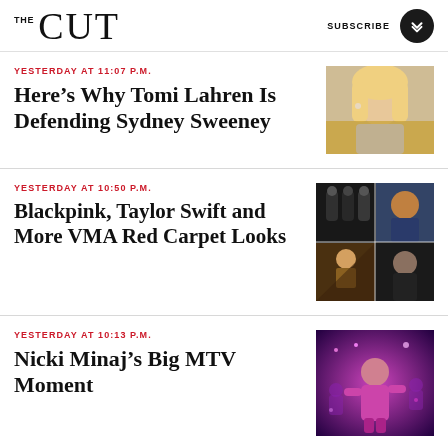THE CUT | SUBSCRIBE
YESTERDAY AT 11:07 P.M.
Here's Why Tomi Lahren Is Defending Sydney Sweeney
[Figure (photo): Portrait photo of Sydney Sweeney, blonde woman with pearl earrings]
YESTERDAY AT 10:50 P.M.
Blackpink, Taylor Swift and More VMA Red Carpet Looks
[Figure (photo): Collage of VMA red carpet looks including Blackpink, Taylor Swift and Lizzo]
YESTERDAY AT 10:13 P.M.
Nicki Minaj's Big MTV Moment
[Figure (photo): Nicki Minaj performing on stage in pink/purple lighting at MTV VMAs]